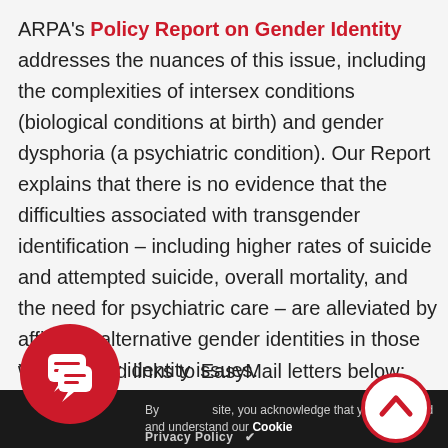ARPA's Policy Report on Gender Identity addresses the nuances of this issue, including the complexities of intersex conditions (biological conditions at birth) and gender dysphoria (a psychiatric condition). Our Report explains that there is no evidence that the difficulties associated with transgender identification – including higher rates of suicide and attempted suicide, overall mortality, and the need for psychiatric care – are alleviated by affirming alternative gender identities in those with gender identity issues.
You can find links to EasyMail letters below:
EasyMail Letter 1 – Bill C-16 forces me to love less
[Figure (illustration): Red circular chat/speech-bubble icon]
[Figure (illustration): Red-outlined circular scroll-to-top arrow button]
By using this site, you acknowledge that you have read and understand our Cookie Privacy Policy ✔